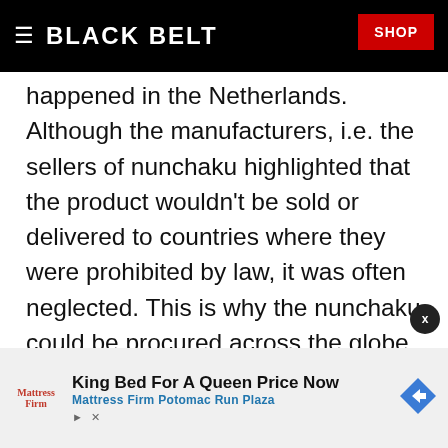BLACK BELT
happened in the Netherlands. Although the manufacturers, i.e. the sellers of nunchaku highlighted that the product wouldn't be sold or delivered to countries where they were prohibited by law, it was often neglected. This is why the nunchaku could be procured across the globe for as little as ten dollars. An interesting fact says that China, which was a country where the usage of various tools and weapons was forbidden and the practice of some martial arts was drastically punished, ned the u
[Figure (other): Advertisement banner for Mattress Firm Potomac Run Plaza: King Bed For A Queen Price Now]